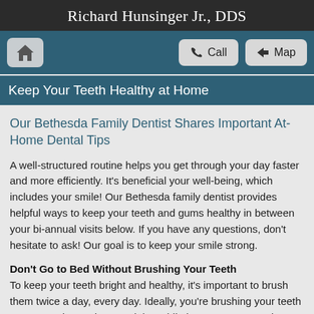Richard Hunsinger Jr., DDS
[Figure (screenshot): Navigation bar with home icon button, Call button with phone icon, and Map button with arrow icon on teal background]
Keep Your Teeth Healthy at Home
Our Bethesda Family Dentist Shares Important At-Home Dental Tips
A well-structured routine helps you get through your day faster and more efficiently. It's beneficial your well-being, which includes your smile! Our Bethesda family dentist provides helpful ways to keep your teeth and gums healthy in between your bi-annual visits below. If you have any questions, don't hesitate to ask! Our goal is to keep your smile strong.
Don't Go to Bed Without Brushing Your Teeth
To keep your teeth bright and healthy, it's important to brush them twice a day, every day. Ideally, you're brushing your teeth every morning and every night. While it's easy to remember to brush in the morning, you may be exhausted at night and just want to fall right into bed. The brushing routine you maintain...